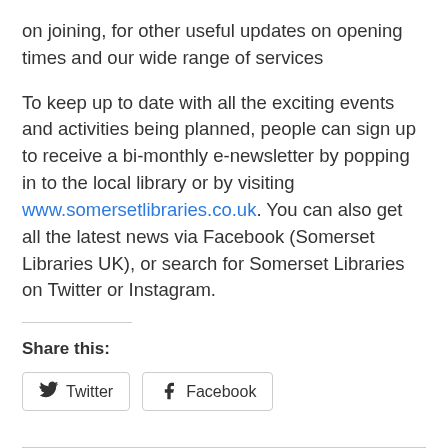on joining, for other useful updates on opening times and our wide range of services
To keep up to date with all the exciting events and activities being planned, people can sign up to receive a bi-monthly e-newsletter by popping in to the local library or by visiting www.somersetlibraries.co.uk. You can also get all the latest news via Facebook (Somerset Libraries UK), or search for Somerset Libraries on Twitter or Instagram.
Share this:
[Figure (other): Twitter and Facebook share buttons]